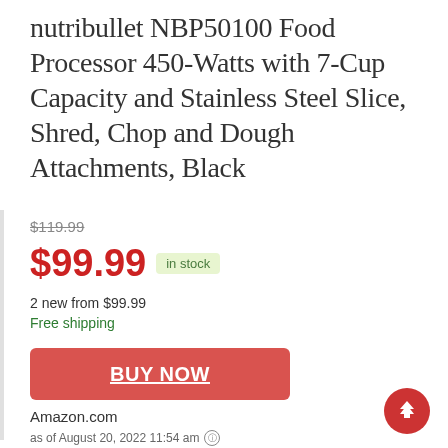nutribullet NBP50100 Food Processor 450-Watts with 7-Cup Capacity and Stainless Steel Slice, Shred, Chop and Dough Attachments, Black
$119.99
$99.99  in stock
2 new from $99.99
Free shipping
BUY NOW
Amazon.com
as of August 20, 2022 11:54 am ℹ